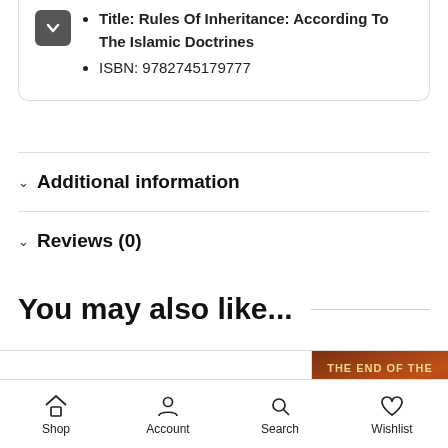Title: Rules Of Inheritance: According To The Islamic Doctrines
ISBN: 9782745179777
Additional information
Reviews (0)
You may also like...
[Figure (photo): Book cover showing 'What the' in italic text]
[Figure (photo): Book cover: 'THE END OF THE WORLD' on dark reddish-brown background]
Shop  Account  Search  Wishlist